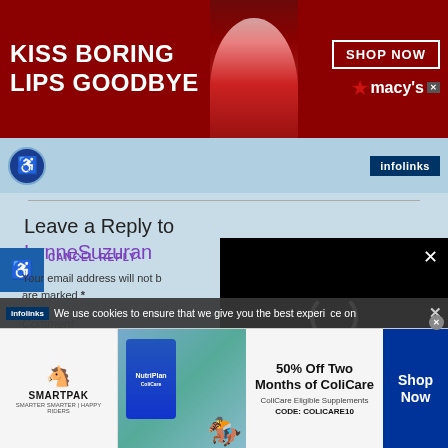[Figure (photo): Macy's advertisement banner showing red lipstick promotion with text 'KISS BORING LIPS GOODBYE' and 'SHOP NOW' button, macy's logo with star]
[Figure (screenshot): Blue strip with wheelchair accessibility icon and infolinks badge]
Leave a Reply to LynneSuzuran
CANCEL REPLY
Your email address will not be published. Required fields are marked *
[Figure (screenshot): Black video player overlay with loading spinner and close X button]
Comment *
We use cookies to ensure that we give you the best experience on
[Figure (photo): SmartPak advertisement: 50% Off Two Months of ColiCare, ColiCare Eligible Supplements, CODE: COLICARE10, Shop Now button]